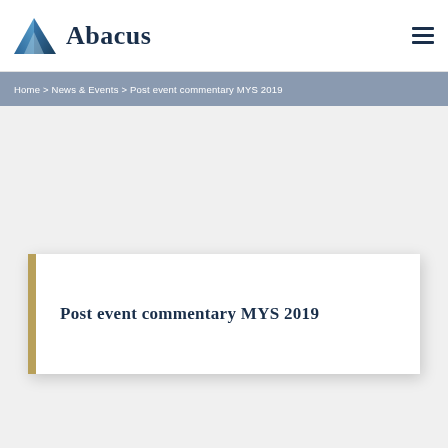[Figure (logo): Abacus company logo with triangle/mountain shape icon in blue gradient and bold serif wordmark 'Abacus' in dark navy]
Home > News & Events > Post event commentary MYS 2019
Post event commentary MYS 2019